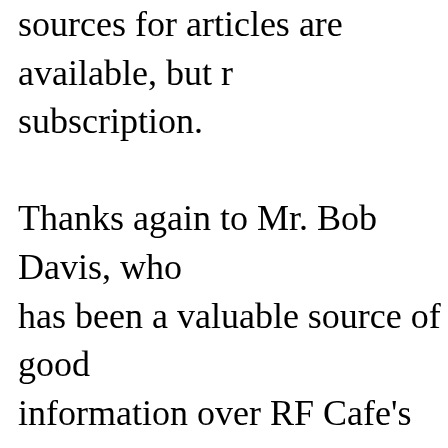sources for articles are available, but require a subscription. Thanks again to Mr. Bob Davis, who has been a valuable source of good information over RF Cafe's two decades of existence.